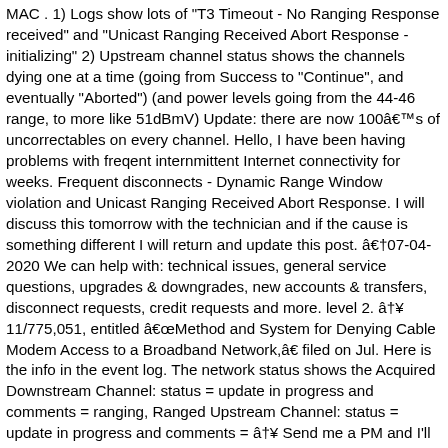MAC . 1) Logs show lots of "T3 Timeout - No Ranging Response received" and "Unicast Ranging Received Abort Response - initializing" 2) Upstream channel status shows the channels dying one at a time (going from Success to "Continue", and eventually "Aborted") (and power levels going from the 44-46 range, to more like 51dBmV) Update: there are now 100âs of uncorrectables on every channel. Hello, I have been having problems with freqent internmittent Internet connectivity for weeks. Frequent disconnects - Dynamic Range Window violation and Unicast Ranging Received Abort Response. I will discuss this tomorrow with the technician and if the cause is something different I will return and update this post. â07-04-2020 We can help with: technical issues, general service questions, upgrades & downgrades, new accounts & transfers, disconnect requests, credit requests and more. level 2. â¥11/775,051, entitled âMethod and System for Denying Cable Modem Access to a Broadband Network,â filed on Jul. Here is the info in the event log. The network status shows the Acquired Downstream Channel: status = update in progress and comments = ranging, Ranged Upstream Channel: status = update in progress and comments = â¥ Send me a PM and I'll let you know how! Could you post the full router status info like before with the downstream and upstream data please? Skip to main content . For immediate assistance, check out the Xfinity Assistant. â07-04-2020 The attenuator that was attached was a 6dB on the connection, for reference. Link to post Share on other sites . Aris